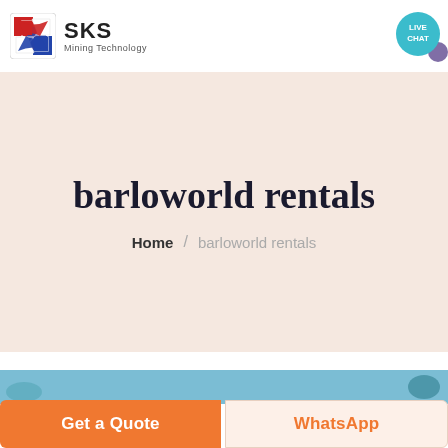[Figure (logo): SKS Mining Technology logo with red and blue diamond S icon and text SKS Mining Technology]
[Figure (illustration): Hamburger menu icon (three horizontal lines) and live chat speech bubble icon with text LIVE CHAT on teal background]
barloworld rentals
Home / barloworld rentals
[Figure (photo): Partial blue-toned banner image strip at the bottom of the hero section]
Get a Quote
WhatsApp